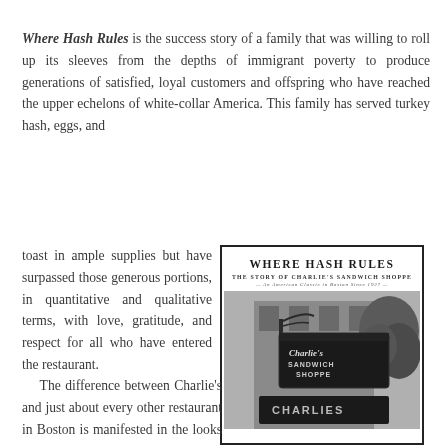Where Hash Rules is the success story of a family that was willing to roll up its sleeves from the depths of immigrant poverty to produce generations of satisfied, loyal customers and offspring who have reached the upper echelons of white-collar America. This family has served turkey hash, eggs, and toast in ample supplies but have surpassed those generous portions, in quantitative and qualitative terms, with love, gratitude, and respect for all who have entered the restaurant.
[Figure (photo): Book cover of 'Where Hash Rules: The Story of Charlie's Sandwich Shoppe — An American Classic in Boston Since 1927' featuring a black-and-white photograph of the Charlie's Sandwich Shoppe hanging sign on the exterior of a building with trees in the background.]
The difference between Charlie's and just about every other restaurant in Boston is manifested in the looks on